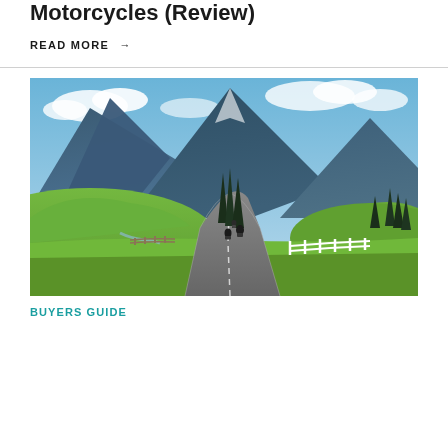Motorcycles (Review)
READ MORE →
[Figure (photo): Motorcyclists riding on a winding alpine road surrounded by green hills and dramatic blue mountains under a partly cloudy sky.]
BUYERS GUIDE